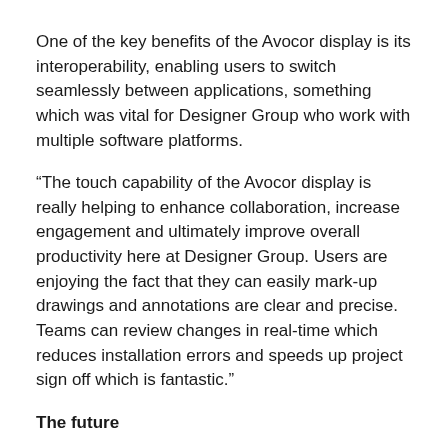One of the key benefits of the Avocor display is its interoperability, enabling users to switch seamlessly between applications, something which was vital for Designer Group who work with multiple software platforms.
“The touch capability of the Avocor display is really helping to enhance collaboration, increase engagement and ultimately improve overall productivity here at Designer Group. Users are enjoying the fact that they can easily mark-up drawings and annotations are clear and precise. Teams can review changes in real-time which reduces installation errors and speeds up project sign off which is fantastic.”
The future
“What we have achieved here at Designer Group with the Electronic Virtualisation Lab is an environment that several of our contractors are now looking to deploy